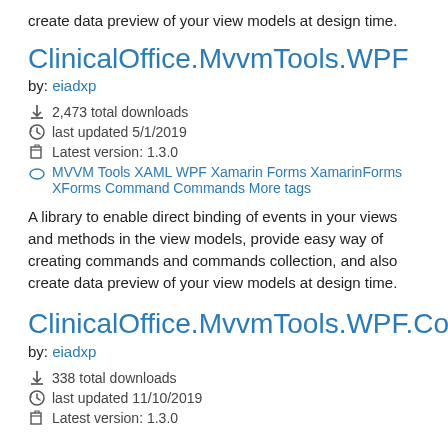create data preview of your view models at design time.
ClinicalOffice.MvvmTools.WPF
by: eiadxp
2,473 total downloads
last updated 5/1/2019
Latest version: 1.3.0
MVVM Tools XAML WPF Xamarin Forms XamarinForms XForms Command Commands More tags
A library to enable direct binding of events in your views and methods in the view models, provide easy way of creating commands and commands collection, and also create data preview of your view models at design time.
ClinicalOffice.MvvmTools.WPF.Core
by: eiadxp
338 total downloads
last updated 11/10/2019
Latest version: 1.3.0